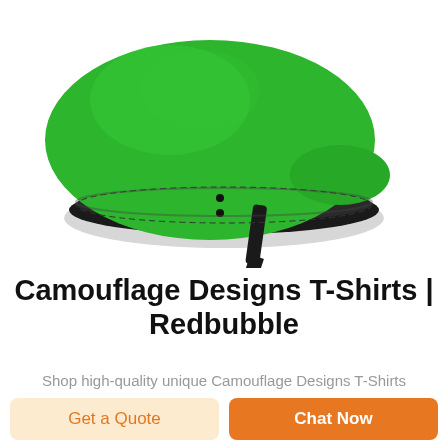[Figure (photo): A green military-style wool beret with black leather brim and two small snap buttons, with a black leather strap hanging at the back, photographed on a white background.]
Camouflage Designs T-Shirts | Redbubble
Shop high-quality unique Camouflage Designs T-Shirts
Get a Quote
Chat Now